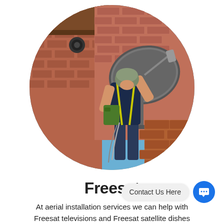[Figure (photo): A technician wearing a hard hat and work overalls installing a satellite dish on a brick wall exterior of a house, with a tiled roof visible in the background and blue sky. Photo is cropped in a circle shape.]
Freesat
Contact Us Here
At aerial installation services we can help with Freesat televisions and Freesat satellite dishes